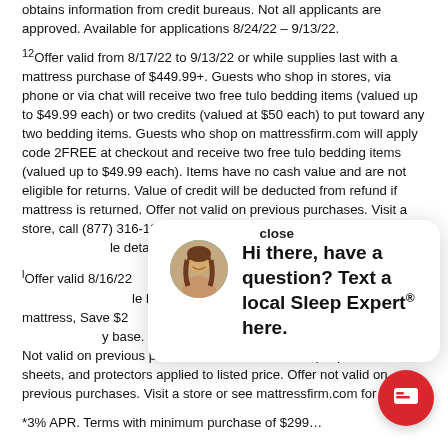obtains information from credit bureaus. Not all applicants are approved. Available for applications 8/24/22 – 9/13/22.
¹²Offer valid from 8/17/22 to 9/13/22 or while supplies last with a mattress purchase of $449.99+. Guests who shop in stores, via phone or via chat will receive two free tulo bedding items (valued up to $49.99 each) or two credits (valued at $50 each) to put toward any two bedding items. Guests who shop on mattressfirm.com will apply code 2FREE at checkout and receive two free tulo bedding items (valued up to $49.99 each). Items have no cash value and are not eligible for returns. Value of credit will be deducted from refund if mattress is returned. Offer not valid on previous purchases. Visit a store, call (877) 316-1269 or chat online for complete details.
ˡOffer valid 8/16/22 … purchase of a Purple … base. Save $300 on … 4 mattress, Save $2… $100 on a Purple ma… base. Must be purchased in the same transaction. Not valid on previous purchases. *Get 20% off Purple pillows, sheets, and protectors applied to listed price. Offer not valid on previous purchases. Visit a store or see mattressfirm.com for details.
*3% APR. Terms with minimum purchase of $299…